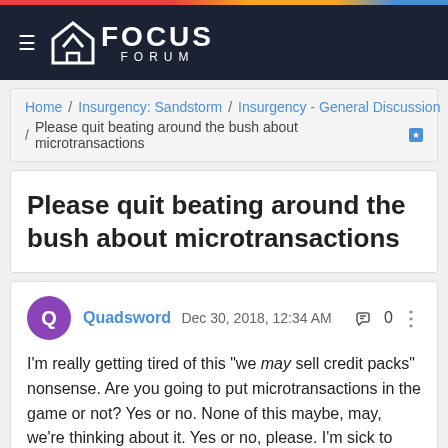Focus Forum
Home / Insurgency: Sandstorm / Insurgency - General Discussion / Please quit beating around the bush about microtransactions
Please quit beating around the bush about microtransactions
Quadsword Dec 30, 2018, 12:34 AM — 0 likes

I'm really getting tired of this "we may sell credit packs" nonsense. Are you going to put microtransactions in the game or not? Yes or no. None of this maybe, may, we're thinking about it. Yes or no, please. I'm sick to death of developers stringing me along.

I'm even more sick of how effing invasive microtransactions have